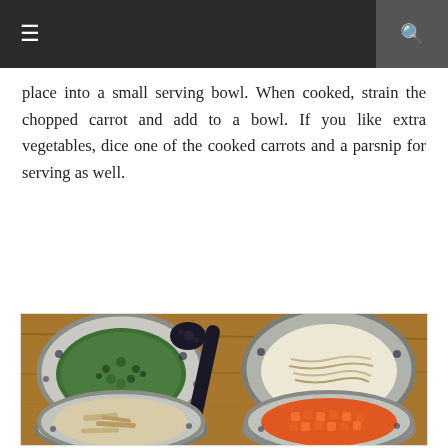Navigation bar with menu and search icons
place into a small serving bowl. When cooked, strain the chopped carrot and add to a bowl. If you like extra vegetables, dice one of the cooked carrots and a parsnip for serving as well.
[Figure (photo): Four decorative bowls with blue and white pattern arranged on a wooden surface. Top-left bowl contains chopped green herbs (chives/scallions). Top-right bowl contains noodles or shredded cabbage with a decorative black and white spoon resting across two bowls. Bottom-left bowl contains shredded chicken. Bottom-right bowl contains diced orange carrots.]